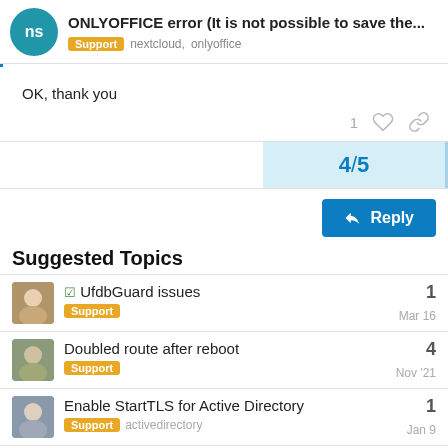ONLYOFFICE error (It is not possible to save the... | Support nextcloud, onlyoffice
OK, thank you
1 [like] [link]
4 / 5
Reply
Suggested Topics
UfdbGuard issues | Support | Mar 16 | 1
Doubled route after reboot | Support | Nov '21 | 4
Enable StartTLS for Active Directory | Support, activedirectory | Jan 9 | 1